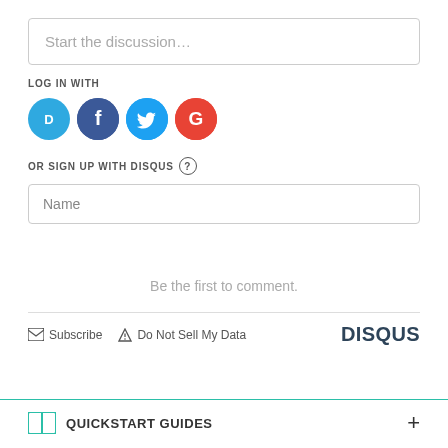Start the discussion…
LOG IN WITH
[Figure (other): Social login icons: Disqus (blue circle with D), Facebook (dark blue circle with f), Twitter (light blue circle with bird), Google (red circle with G)]
OR SIGN UP WITH DISQUS ?
Name
Be the first to comment.
Subscribe   Do Not Sell My Data   DISQUS
QUICKSTART GUIDES